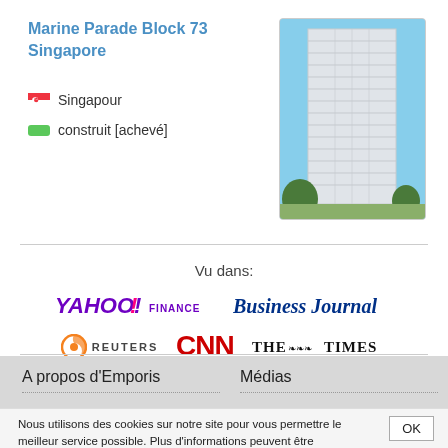Marine Parade Block 73 Singapore
Singapour
construit [achevé]
[Figure (photo): Tall residential tower block in Singapore (Marine Parade Block 73), white multi-storey building with balconies against blue sky]
Vu dans:
[Figure (logo): Yahoo! Finance logo]
[Figure (logo): Business Journal logo]
[Figure (logo): Reuters logo]
[Figure (logo): CNN logo]
[Figure (logo): The Times logo]
A propos d'Emporis
Médias
Nous utilisons des cookies sur notre site pour vous permettre le meilleur service possible. Plus d'informations peuvent être trouvées ici.